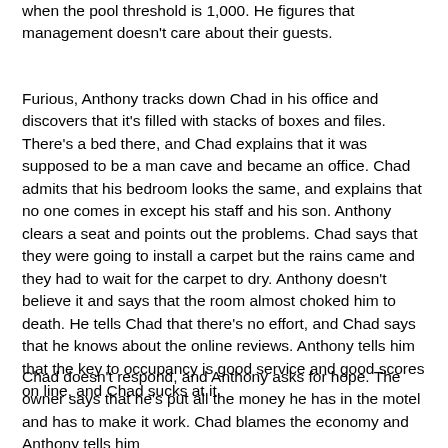when the pool threshold is 1,000. He figures that management doesn't care about their guests.
Furious, Anthony tracks down Chad in his office and discovers that it's filled with stacks of boxes and files. There's a bed there, and Chad explains that it was supposed to be a man cave and became an office. Chad admits that his bedroom looks the same, and explains that no one comes in except his staff and his son. Anthony clears a seat and points out the problems. Chad says that they were going to install a carpet but the rains came and they had to wait for the carpet to dry. Anthony doesn't believe it and says that the room almost choked him to death. He tells Chad that there's no effort, and Chad says that he knows about the online reviews. Anthony tells him that the key to occupancy is good service and good scores on line, and Chad sucks at it.
Chad doesn't respond, and Anthony asks for hope. The owner says that he's put all the money he has in the motel and has to make it work. Chad blames the economy and Anthony tells him